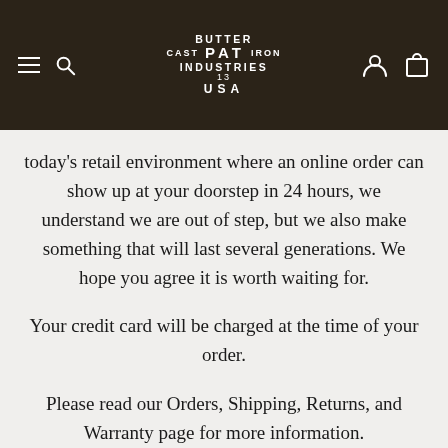[Figure (logo): Butter Pat Cast Iron Industries 13 USA logo in white text on dark brown background, with hamburger menu and search icons on the left, and account and cart icons on the right]
today's retail environment where an online order can show up at your doorstep in 24 hours, we understand we are out of step, but we also make something that will last several generations. We hope you agree it is worth waiting for.
Your credit card will be charged at the time of your order.
Please read our Orders, Shipping, Returns, and Warranty page for more information.
LEARN MORE